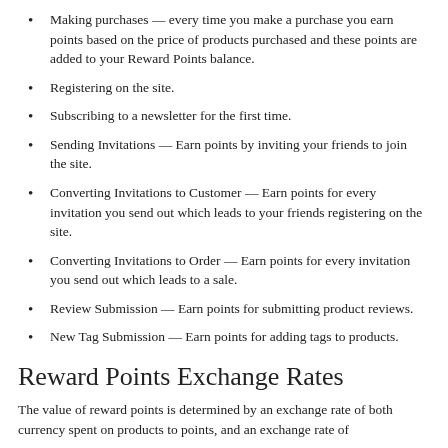Making purchases — every time you make a purchase you earn points based on the price of products purchased and these points are added to your Reward Points balance.
Registering on the site.
Subscribing to a newsletter for the first time.
Sending Invitations — Earn points by inviting your friends to join the site.
Converting Invitations to Customer — Earn points for every invitation you send out which leads to your friends registering on the site.
Converting Invitations to Order — Earn points for every invitation you send out which leads to a sale.
Review Submission — Earn points for submitting product reviews.
New Tag Submission — Earn points for adding tags to products.
Reward Points Exchange Rates
The value of reward points is determined by an exchange rate of both currency spent on products to points, and an exchange rate of